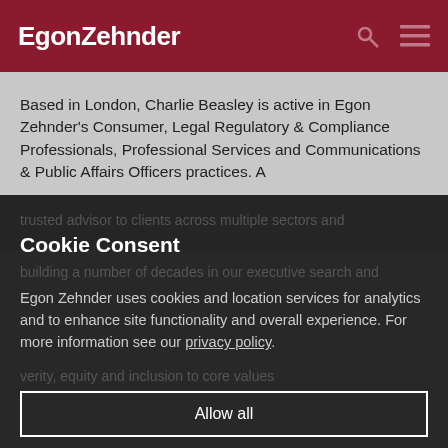EgonZehnder
Based in London, Charlie Beasley is active in Egon Zehnder's Consumer, Legal Regulatory & Compliance Professionals, Professional Services and Communications & Public Affairs Officers practices. A trusted advisor to clients across multiple sectors and industries, Charlie draws on his deep industry experience built over a number of decades in our executive search and
Cookie Consent
Egon Zehnder uses cookies and location services for analytics and to enhance site functionality and overall experience. For more information see our privacy policy.
Allow all
Show details